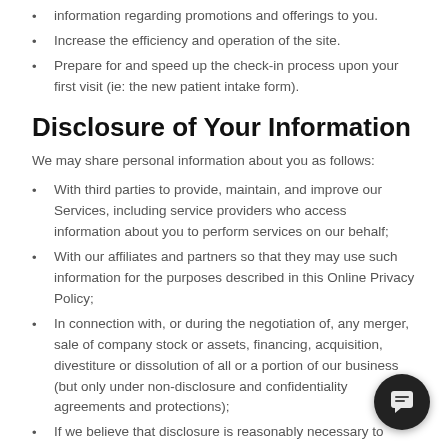information regarding promotions and offerings to you.
Increase the efficiency and operation of the site.
Prepare for and speed up the check-in process upon your first visit (ie: the new patient intake form).
Disclosure of Your Information
We may share personal information about you as follows:
With third parties to provide, maintain, and improve our Services, including service providers who access information about you to perform services on our behalf;
With our affiliates and partners so that they may use such information for the purposes described in this Online Privacy Policy;
In connection with, or during the negotiation of, any merger, sale of company stock or assets, financing, acquisition, divestiture or dissolution of all or a portion of our business (but only under non-disclosure and confidentiality agreements and protections);
If we believe that disclosure is reasonably necessary to comply